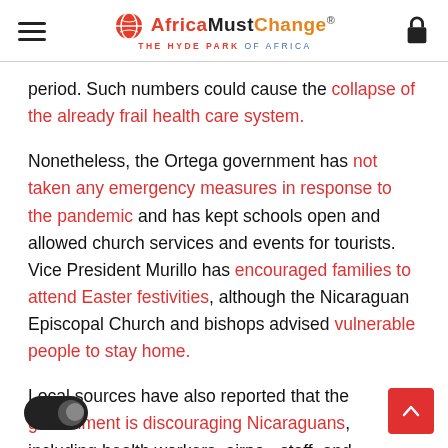AfricaMustChange® — THE HYDE PARK OF AFRICA
period. Such numbers could cause the collapse of the already frail health care system.
Nonetheless, the Ortega government has not taken any emergency measures in response to the pandemic and has kept schools open and allowed church services and events for tourists. Vice President Murillo has encouraged families to attend Easter festivities, although the Nicaraguan Episcopal Church and bishops advised vulnerable people to stay home.
Local sources have also reported that the government is discouraging Nicaraguans, including health workers, airport staff, and policemen, from wearing masks, and one activist said